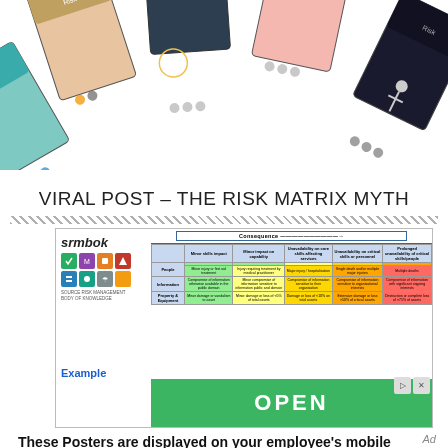[Figure (illustration): Fan of colorful risk management posters displayed in a spread at the top of the page]
VIRAL POST – THE RISK MATRIX MYTH
[Figure (screenshot): Advertisement showing srmbok logo, a risk consequence matrix table, an OPEN button in green, and close/skip ad icons. Caption reads 'These Posters are displayed on your employee's mobile device when they enter the workplace'. Example label in blue.]
These Posters are displayed on your employee's mobile device when they enter the workplace
Ad